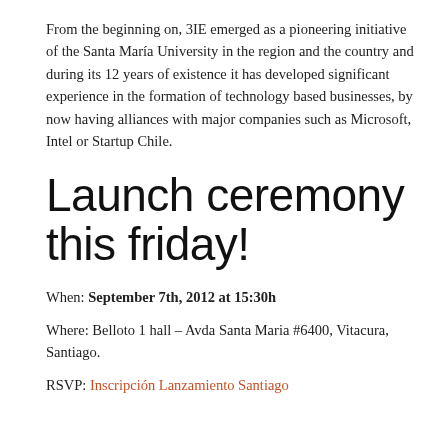From the beginning on, 3IE emerged as a pioneering initiative of the Santa María University in the region and the country and during its 12 years of existence it has developed significant experience in the formation of technology based businesses, by now having alliances with major companies such as Microsoft, Intel or Startup Chile.
Launch ceremony this friday!
When: September 7th, 2012 at 15:30h
Where: Belloto 1 hall – Avda Santa Maria #6400, Vitacura, Santiago.
RSVP: Inscripción Lanzamiento Santiago